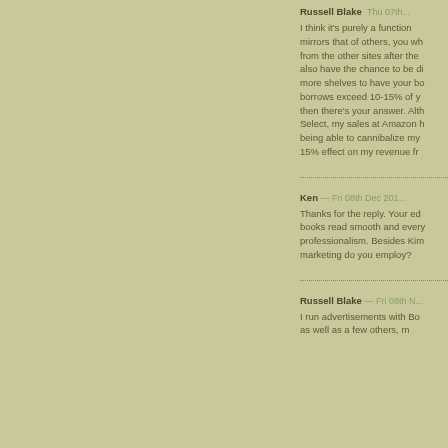Russell Blake [date] I think it's purely a function of mirrors that of others, you w from the other sites after the also have the chance to be di more shelves to have your bo borrows exceed 10-15% of y then there's your answer. Alth Select, my sales at Amazon b being able to cannibalize my 15% effect on my revenue fr
Ken — Fri 08th Dec 201 Thanks for the reply. Your ed books read smooth and every professionalism. Besides Kim marketing do you employ?
Russell Blake — Fri 08th I run advertisements with Bo as well as a few others, m